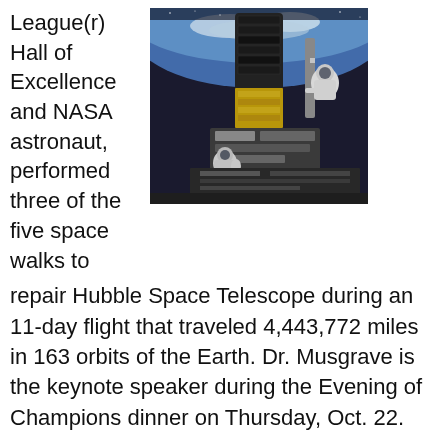League(r) Hall of Excellence and NASA astronaut, performed three of the five space walks to
[Figure (photo): Astronaut performing spacewalk to repair Hubble Space Telescope, with Earth visible in background]
repair Hubble Space Telescope during an 11-day flight that traveled 4,443,772 miles in 163 orbits of the Earth. Dr. Musgrave is the keynote speaker during the Evening of Champions dinner on Thursday, Oct. 22.
His talk will be out of this world.
Retiring after 30 years as a National Aeronautics and Space Administration astronaut, Dr. Musgrave was inducted in 1994 to the Hall of Excellence in the World of Little®